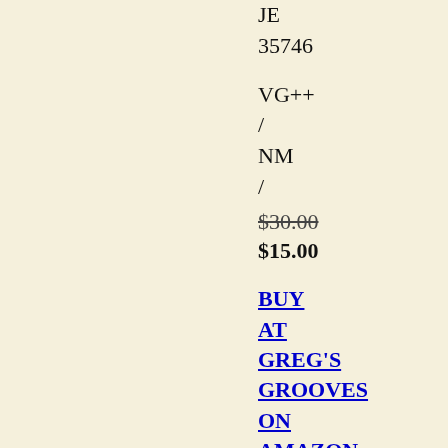JE
35746
VG++
/
NM
/
$30.00
$15.00
BUY AT GREG'S GROOVES ON AMAZON MARKETPLACE
White Label Promo, with DJ timing sticker on